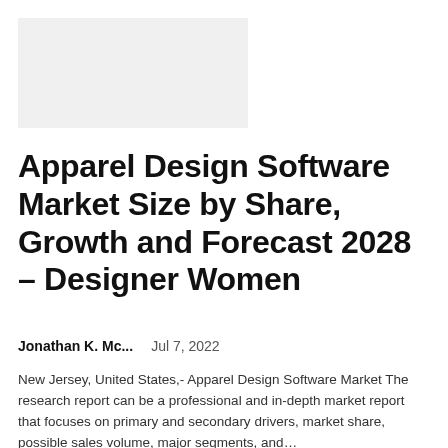[Figure (other): Light grey rectangular image placeholder]
Apparel Design Software Market Size by Share, Growth and Forecast 2028 – Designer Women
Jonathan K. Mc...    Jul 7, 2022
New Jersey, United States,- Apparel Design Software Market The research report can be a professional and in-depth market report that focuses on primary and secondary drivers, market share, possible sales volume, major segments, and...